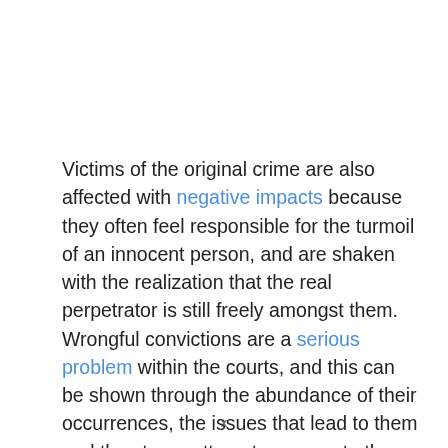Victims of the original crime are also affected with negative impacts because they often feel responsible for the turmoil of an innocent person, and are shaken with the realization that the real perpetrator is still freely amongst them. Wrongful convictions are a serious problem within the courts, and this can be shown through the abundance of their occurrences, the issues that lead to them and the strong attempts exonerate those afflicted, and the effects they have on the victims of our faithful legal system.
x